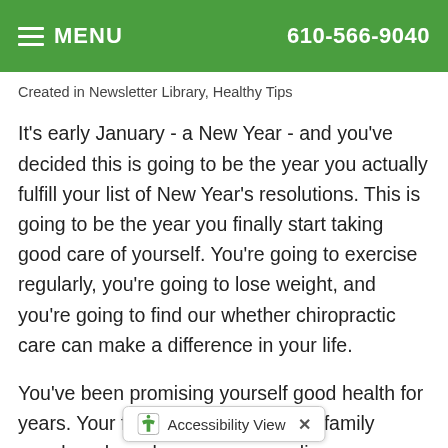MENU   610-566-9040
Created in Newsletter Library, Healthy Tips
It's early January - a New Year - and you've decided this is going to be the year you actually fulfill your list of New Year's resolutions. This is going to be the year you finally start taking good care of yourself. You're going to exercise regularly, you're going to lose weight, and you're going to find our whether chiropractic care can make a difference in your life.
You've been promising yourself good health for years. Your friends and even some family members have been recommending chiropractic health care to you for a very long time. You decide you're ready to take action and you make an appointment to see your chiropractor.